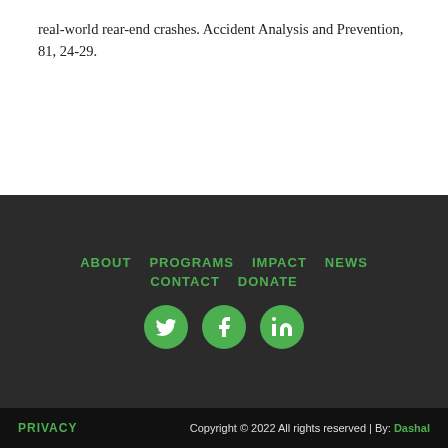real-world rear-end crashes. Accident Analysis and Prevention, 81, 24-29.
ABOUT   PROGRAMS   IMPACT   NEWS   CONTACT   DONATE
[Figure (other): Social media icons: Twitter, Facebook, LinkedIn — green circles with white icons]
PRIVACY   Copyright © 2022 All rights reserved | By: Dashal